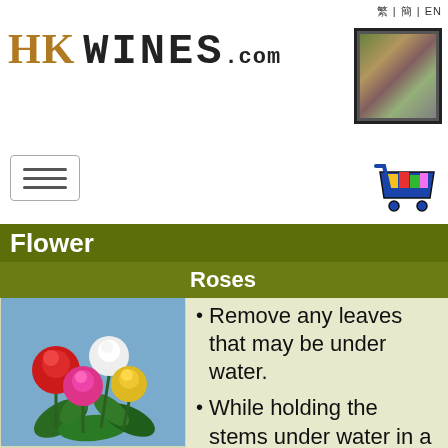繁 | 簡 | EN
[Figure (logo): HK WINES.com logo in bold serif and monospace typefaces]
[Figure (photo): Small framed photo of a person with flowers in upper right]
[Figure (illustration): Hamburger menu icon button]
[Figure (illustration): Shopping cart icon with colourful items]
Flower
Roses
[Figure (photo): Photo of red, white, pink and yellow roses with green leaves on blue background]
Upon Arrival
[Figure (illustration): Small red flower illustration at bottom left]
Remove any leaves that may be under water.
While holding the stems under water in a sink or under running water, cut about one inch off each stem with a sharp knife or shears. DO NOT